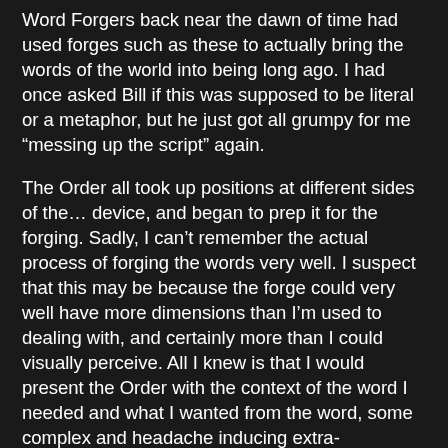Word Forgers back near the dawn of time had used forges such as these to actually bring the words of the world into being long ago. I had once asked Bill if this was supposed to be literal or a metaphor, but he just got all grumpy for me “messing up the script” again.
The Order all took up positions at different sides of the… device, and began to prep it for the forging. Sadly, I can’t remember the actual process of forging the words very well. I suspect that this may be because the forge could very well have more dimensions than I’m used to dealing with, and certainly more than I could visually perceive. All I knew is that I would present the Order with the context of the word I needed and what I wanted from the word, some complex and headache inducing extra-dimensional process would occur, and out would pop the perfect word for the situation, straight into my hands and then, after the image quickly evaporated, into my head.
After I had retrieved all the words I needed, I waved goodbye to the still sulking Bill and went on my way. I repeated all the steps I needed to get there, but in reverse. Well, at least until I tripped off a small cliff while trying to